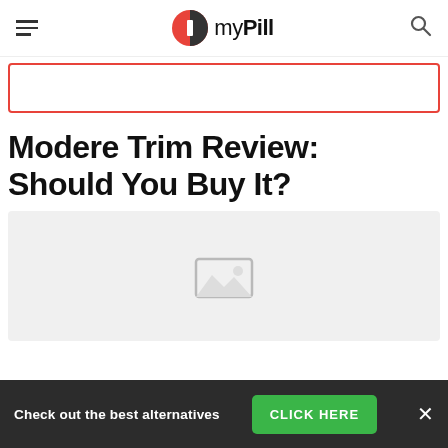myPill
[Figure (other): Red bordered rectangular box, partially visible at top of content area]
Modere Trim Review: Should You Buy It?
[Figure (photo): Gray placeholder image area with a faint image icon in the center]
Check out the best alternatives
CLICK HERE